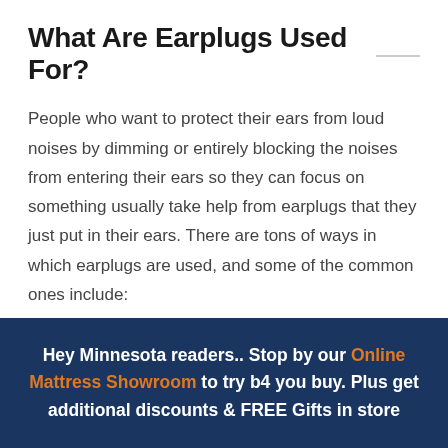What Are Earplugs Used For?
People who want to protect their ears from loud noises by dimming or entirely blocking the noises from entering their ears so they can focus on something usually take help from earplugs that they just put in their ears. There are tons of ways in which earplugs are used, and some of the common ones include:
If you are disturbed by the snores of
Hey Minnesota readers.. Stop by our Online Mattress Showroom to try b4 you buy. Plus get additional discounts & FREE Gifts in store